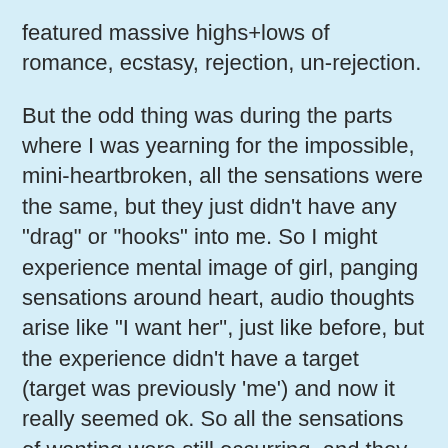featured massive highs+lows of romance, ecstasy, rejection, un-rejection.

But the odd thing was during the parts where I was yearning for the impossible, mini-heartbroken, all the sensations were the same, but they just didn't have any "drag" or "hooks" into me. So I might experience mental image of girl, panging sensations around heart, audio thoughts arise like "I want her", just like before, but the experience didn't have a target (target was previously 'me') and now it really seemed ok. So all the sensations of wanting were still occurring, and they felt exactly the same as they would have done before, painful, but my relation to them was different. They weren't happening TO anyone. And for the first time I have an